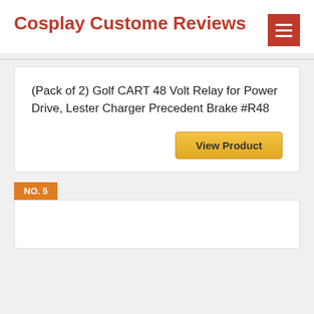Cosplay Custome Reviews
(Pack of 2) Golf CART 48 Volt Relay for Power Drive, Lester Charger Precedent Brake #R48
View Product
NO. 5